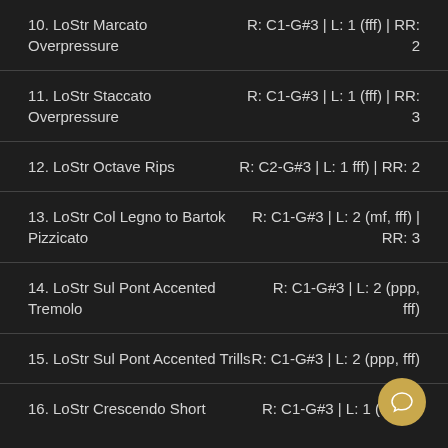10. LoStr Marcato Overpressure | R: C1-G#3 | L: 1 (fff) | RR: 2
11. LoStr Staccato Overpressure | R: C1-G#3 | L: 1 (fff) | RR: 3
12. LoStr Octave Rips | R: C2-G#3 | L: 1 fff) | RR: 2
13. LoStr Col Legno to Bartok Pizzicato | R: C1-G#3 | L: 2 (mf, fff) | RR: 3
14. LoStr Sul Pont Accented Tremolo | R: C1-G#3 | L: 2 (ppp, fff)
15. LoStr Sul Pont Accented Trills | R: C1-G#3 | L: 2 (ppp, fff)
16. LoStr Crescendo Short | R: C1-G#3 | L: 1 (fff) | R...